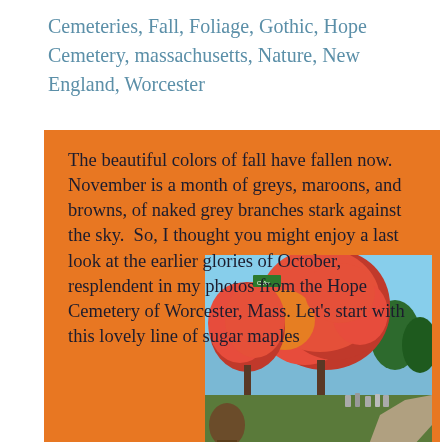Cemeteries, Fall, Foliage, Gothic, Hope Cemetery, massachusetts, Nature, New England, Worcester
The beautiful colors of fall have fallen now. November is a month of greys, maroons, and browns, of naked grey branches stark against the sky. So, I thought you might enjoy a last look at the earlier glories of October, resplendent in my photos from the Hope Cemetery of Worcester, Mass. Let's start with this lovely line of sugar maples
[Figure (photo): A cemetery scene in autumn showing a line of sugar maple trees with brilliant red and orange foliage against a blue sky, with gravestones visible in the background along a path, and a person partially visible in the foreground.]